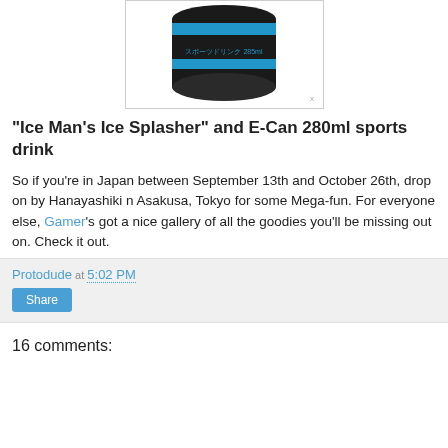[Figure (photo): Product photo of a dark/black cylindrical can with blue stripe bands and Japanese text, shown from above at an angle on a white background with a light gray border.]
"Ice Man's Ice Splasher" and E-Can 280ml sports drink
So if you're in Japan between September 13th and October 26th, drop on by Hanayashiki n Asakusa, Tokyo for some Mega-fun. For everyone else, Gamer's got a nice gallery of all the goodies you'll be missing out on. Check it out.
Protodude at 5:02 PM
Share
16 comments: